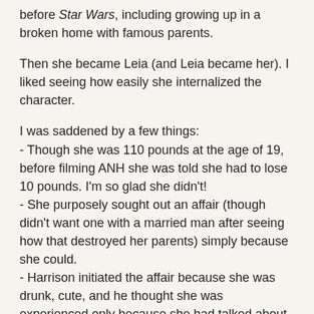before <i>Star Wars</i>, including growing up in a broken home with famous parents.
Then she became Leia (and Leia became her). I liked seeing how easily she internalized the character.
I was saddened by a few things:
- Though she was 110 pounds at the age of 19, before filming ANH she was told she had to lose 10 pounds. I'm so glad she didn't!
- She purposely sought out an affair (though didn't want one with a married man after seeing how that destroyed her parents) simply because she could.
- Harrison initiated the affair because she was drunk, cute, and he thought she was experienced only because she had talked about some males in her life.
While I find diary entries and poems to quickly become boring, I'm glad she included recently-found entries she